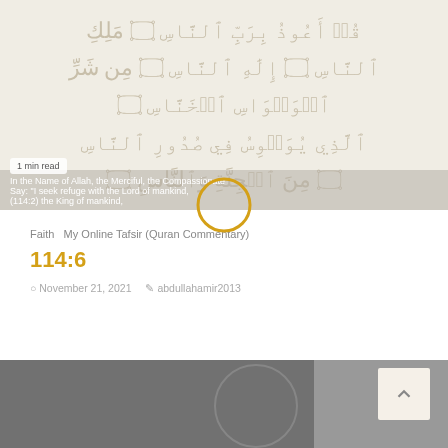[Figure (photo): Quran page with Arabic script shown in faded beige tones, with overlaid English text snippet and '1 min read' badge]
Faith  My Online Tafsir (Quran Commentary)
114:6
November 21, 2021   abdullahamir2013
[Figure (photo): Dark grayscale photo of Islamic books/manuscripts with decorative motif, scroll-to-top button visible at right]